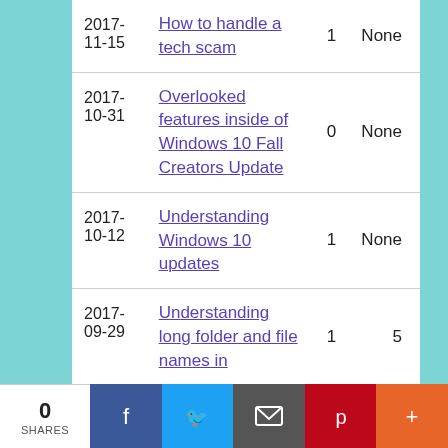| Date | Title | Count | Status |
| --- | --- | --- | --- |
| 2017-11-15 | How to handle a tech scam | 1 | None |
| 2017-10-31 | Overlooked features inside of Windows 10 Fall Creators Update | 0 | None |
| 2017-10-12 | Understanding Windows 10 updates | 1 | None |
| 2017-09-29 | Understanding long folder and file names in | 1 | 5 |
0 SHARES